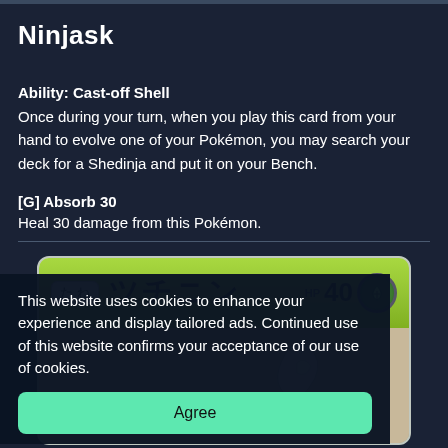Ninjask
Ability: Cast-off Shell
Once during your turn, when you play this card from your hand to evolve one of your Pokémon, you may search your deck for a Shedinja and put it on your Bench.
[G] Absorb 30
Heal 30 damage from this Pokémon.
[Figure (photo): A Japanese Pokémon trading card showing ツチニン (Nincada) with HP 40 and a Grass type badge, with a たね (Basic) label, partially visible card artwork on a green background]
This website uses cookies to enhance your experience and display tailored ads. Continued use of this website confirms your acceptance of our use of cookies.
Agree